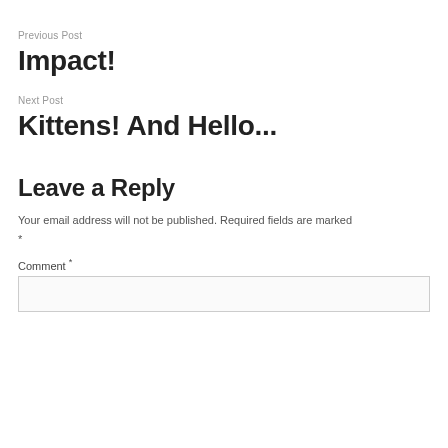Previous Post
Impact!
Next Post
Kittens! And Hello...
Leave a Reply
Your email address will not be published. Required fields are marked *
Comment *